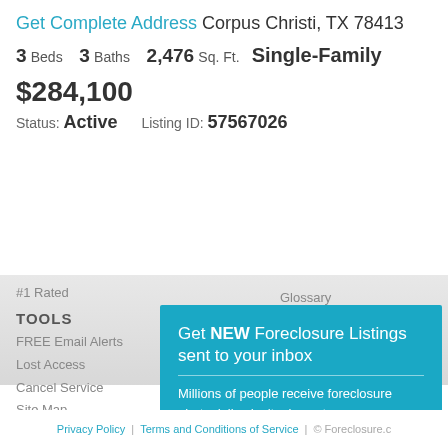Get Complete Address Corpus Christi, TX 78413
3 Beds  3 Baths  2,476 Sq. Ft.  Single-Family
$284,100
Status: Active   Listing ID: 57567026
#1 Rated
Glossary
Foreclosure Laws
TOOLS
FREE Email Alerts
Lost Access
Cancel Service
Site Map
Account Management
Improve Your Credit
Mortgage Rates
Get NEW Foreclosure Listings sent to your inbox
Millions of people receive foreclosure alerts daily, don't miss out.
Signup Here
No Thanks | Remind Me Later
Privacy Policy  |  Terms and Conditions of Service  |  © Foreclosure.com